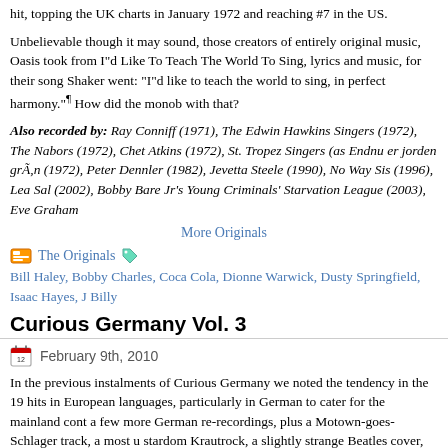hit, topping the UK charts in January 1972 and reaching #7 in the US.
Unbelievable though it may sound, those creators of entirely original music, Oasis took from I'd Like To Teach The World To Sing, lyrics and music, for their song Shakermaker went: "I'd like to teach the world to sing, in perfect harmony." ¶ How did the monob with that?
Also recorded by: Ray Conniff (1971), The Edwin Hawkins Singers (1972), The Nabors (1972), Chet Atkins (1972), St. Tropez Singers (as Endnu er jorden grÃ¸n (1972), Peter Dennler (1982), Jevetta Steele (1990), No Way Sis (1996), Lea Sal (2002), Bobby Bare Jr's Young Criminals' Starvation League (2003), Eve Graham
More Originals
The Originals
Bill Haley, Bobby Charles, Coca Cola, Dionne Warwick, Dusty Springfield, Isaac Hayes, J Billy
Curious Germany Vol. 3
February 9th, 2010
In the previous instalments of Curious Germany we noted the tendency in the 19 hits in European languages, particularly in German to cater for the mainland cont a few more German re-recordings, plus a Motown-goes-Schlager track, a most u stardom Krautrock, a slightly strange Beatles cover, and another singing footballe